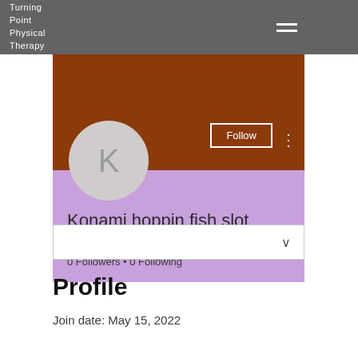Turning Point Physical Therapy
[Figure (screenshot): Social media profile page screenshot showing a user profile with brown banner, purple lower section, avatar circle with letter K, Follow button, username 'Konami hoppin fish slot mac...', 0 Followers, 0 Following]
Profile
Join date: May 15, 2022